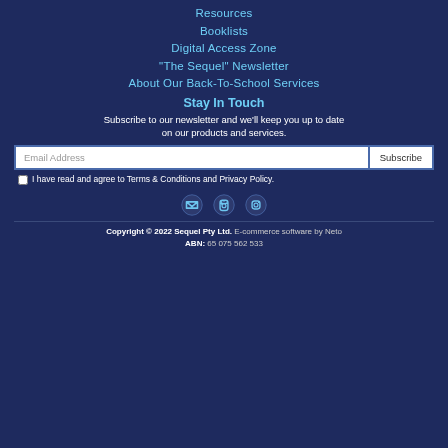Resources
Booklists
Digital Access Zone
"The Sequel" Newsletter
About Our Back-To-School Services
Stay In Touch
Subscribe to our newsletter and we'll keep you up to date on our products and services.
Email Address | Subscribe
I have read and agree to Terms & Conditions and Privacy Policy.
[Figure (infographic): Social media icons: email envelope, Facebook, Instagram]
Copyright © 2022 Sequel Pty Ltd. E-commerce software by Neto ABN: 65 075 562 533